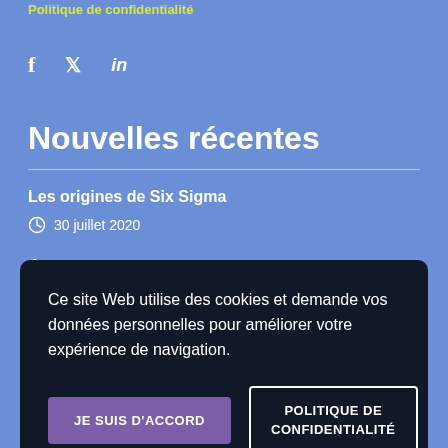Politique de confidentialité
f  𝕏  in
Nouvelles récentes
Les origines de Six Sigma
30 juillet 2020
Ce site Web utilise des cookies et demande vos données personnelles pour améliorer votre expérience de navigation.
JE SUIS D'ACCORD
POLITIQUE DE CONFIDENTIALITÉ